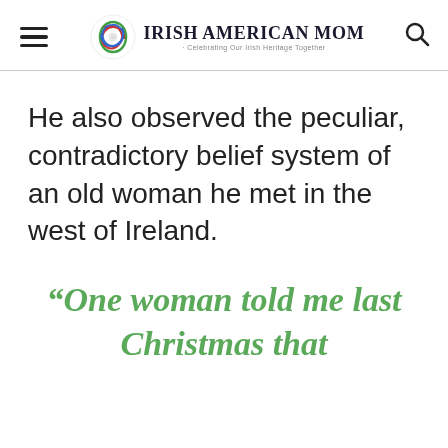Irish American Mom - Celebrating Our Irish Heritage Together
He also observed the peculiar, contradictory belief system of an old woman he met in the west of Ireland.
“One woman told me last Christmas that